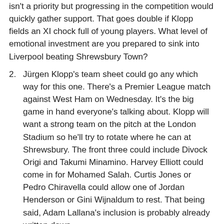isn't a priority but progressing in the competition would quickly gather support. That goes double if Klopp fields an XI chock full of young players. What level of emotional investment are you prepared to sink into Liverpool beating Shrewsbury Town?
Jürgen Klopp's team sheet could go any which way for this one. There's a Premier League match against West Ham on Wednesday. It's the big game in hand everyone's talking about. Klopp will want a strong team on the pitch at the London Stadium so he'll try to rotate where he can at Shrewsbury. The front three could include Divock Origi and Takumi Minamino. Harvey Elliott could come in for Mohamed Salah. Curtis Jones or Pedro Chiravella could allow one of Jordan Henderson or Gini Wijnaldum to rest. That being said, Adam Lallana's inclusion is probably already written down